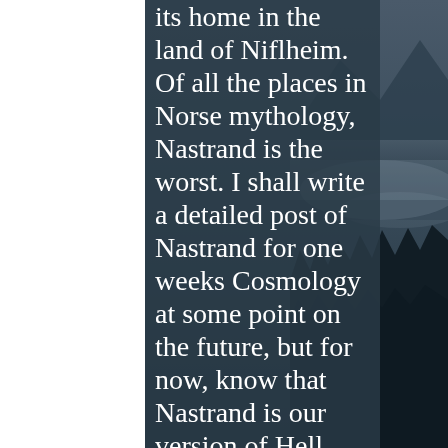its home in the land of Niflheim. Of all the places in Norse mythology, Nastrand is the worst. I shall write a detailed post of Nastrand for one weeks Cosmology at some point on the future, but for now, know that Nastrand is our version of Hell. Oath breakers, murderers, and rapists will all find themselves spending eternity here,